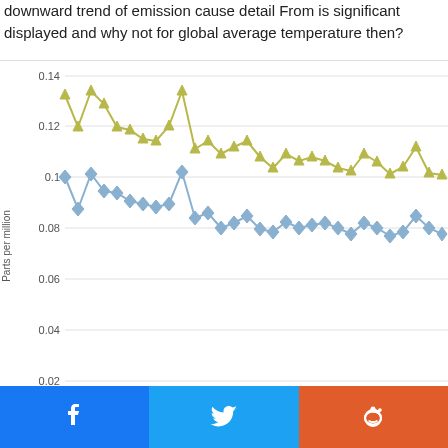downward trend of emission cause detail From is significant displayed and why not for global average temperature then?
[Figure (line-chart): Two downward-trending line series over time. Yellow-green triangle series is higher (~0.13 to ~0.10), blue diamond series is lower (~0.10 to ~0.07). Both show a general decline with oscillations.]
[Figure (other): Social sharing buttons: Facebook (blue), Twitter (light blue), Reddit (orange-red)]